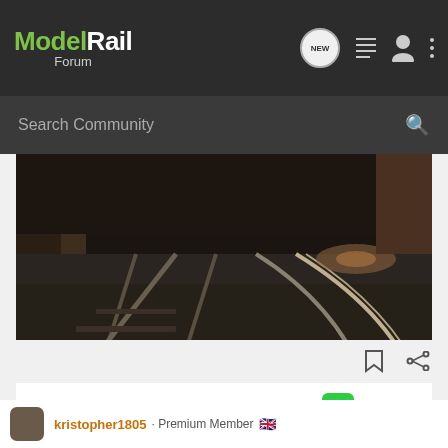ModelRail Forum
Search Community
[Figure (photo): Close-up photograph of model railroad tracks curving away into darkness, with ballast visible and realistic rail detail]
301
[Figure (logo): imgur logo — green icon with arrow and 'imgur' text]
kristopher1805 · Premium Member 🇬🇧